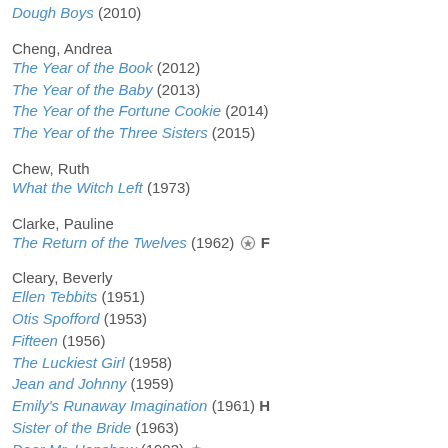Dough Boys (2010)
Cheng, Andrea
The Year of the Book (2012)
The Year of the Baby (2013)
The Year of the Fortune Cookie (2014)
The Year of the Three Sisters (2015)
Chew, Ruth
What the Witch Left (1973)
Clarke, Pauline
The Return of the Twelves (1962) ✪ F
Cleary, Beverly
Ellen Tebbits (1951)
Otis Spofford (1953)
Fifteen (1956)
The Luckiest Girl (1958)
Jean and Johnny (1959)
Emily's Runaway Imagination (1961) H
Sister of the Bride (1963)
Dear Mr. Henshaw (1983)